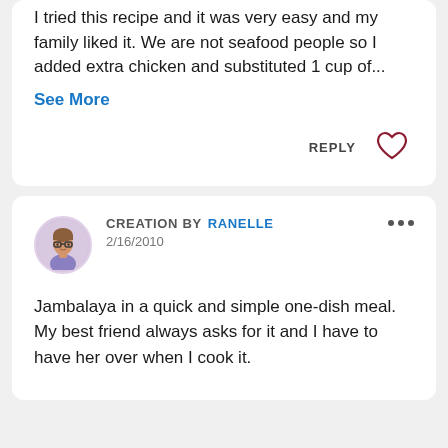I tried this recipe and it was very easy and my family liked it. We are not seafood people so I added extra chicken and substituted 1 cup of...
See More
REPLY
CREATION BY RANELLE
2/16/2010
Jambalaya in a quick and simple one-dish meal. My best friend always asks for it and I have to have her over when I cook it.